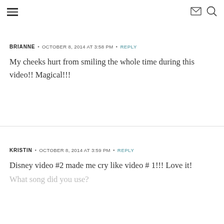≡  ✉ 🔍
BRIANNE · OCTOBER 8, 2014 AT 3:58 PM · REPLY
My cheeks hurt from smiling the whole time during this video!! Magical!!!
KRISTIN · OCTOBER 8, 2014 AT 3:59 PM · REPLY
Disney video #2 made me cry like video # 1!!! Love it!
What song did you use?